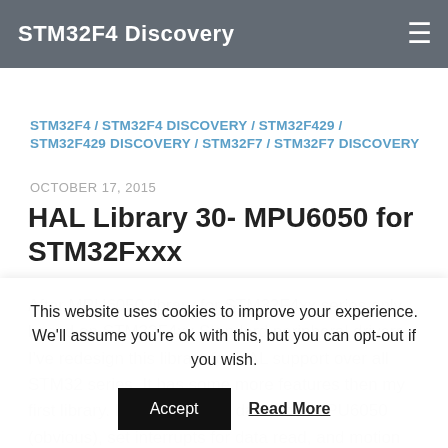STM32F4 Discovery
STM32F4 / STM32F4 DISCOVERY / STM32F429 / STM32F429 DISCOVERY / STM32F7 / STM32F7 DISCOVERY
OCTOBER 17, 2015
HAL Library 30- MPU6050 for STM32Fxxx
After MPU6050 library for STM32F4xx series only based on STM32F4xx Standard peripheral drivers, I've redesign this library for HAL support over all STM32 series. It has some more features then my first library. It can now read data from MPU6050 (obvious), set interrupts for data read, and motion
This website uses cookies to improve your experience. We'll assume you're ok with this, but you can opt-out if you wish.
Accept  Read More